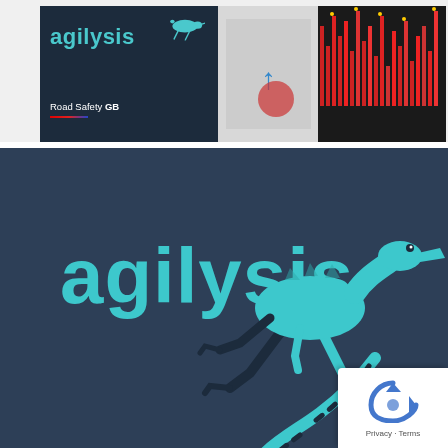[Figure (screenshot): Top section showing agilysis logo with lizard icon on dark navy background, Road Safety GB logo below, and a financial chart panel on the right with red bar chart data]
[Figure (logo): Large agilysis logo on dark steel blue background. The word 'agilysis' in large teal/cyan lettering with a running lizard illustration to the right in teal and black. reCAPTCHA badge in bottom right corner.]